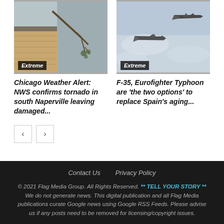[Figure (photo): Storm damage photo showing broken tree branch near building exterior]
[Figure (photo): Two military fighter jets (F-35 and Eurofighter Typhoon) flying in sky]
Chicago Weather Alert: NWS confirms tornado in south Naperville leaving damaged...
F-35, Eurofighter Typhoon are 'the two options' to replace Spain's aging...
Contact Us   Privacy Policy
© 2021 Flag Media Group. All Rights Reserved. ** TELL YOUR STORY ** We do not generate news. This digital publication and all Flag Media publications curate Google news using Google RSS Feeds. Please advise us if any posts need to be removed for licensing/copyright issues.